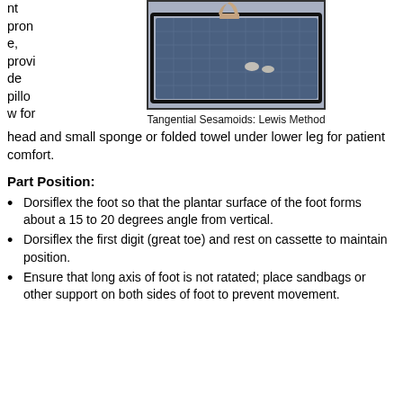nt prone, provide pillow for head and small sponge or folded towel under lower leg for patient comfort.
[Figure (photo): Photograph showing tangential sesamoids imaging using the Lewis Method, with a hand pressing down on a radiographic cassette/positioning device on a blue grid mat.]
Tangential Sesamoids: Lewis Method
Part Position:
Dorsiflex the foot so that the plantar surface of the foot forms about a 15 to 20 degrees angle from vertical.
Dorsiflex the first digit (great toe) and rest on cassette to maintain position.
Ensure that long axis of foot is not ratated; place sandbags or other support on both sides of foot to prevent movement.